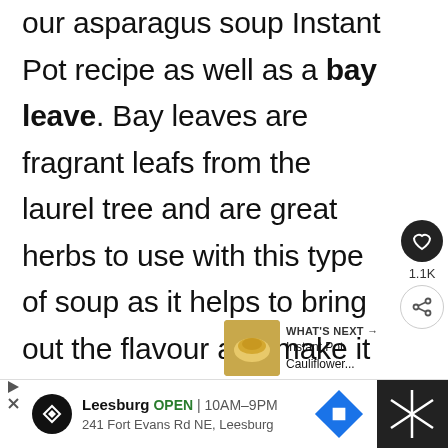our asparagus soup Instant Pot recipe as well as a bay leave. Bay leaves are fragrant leafs from the laurel tree and are great herbs to use with this type of soup as it helps to bring out the flavour and make it a little stronger.
[Figure (other): Social interaction buttons: heart/like icon (dark circle) with count 1.1K, and share icon (outlined circle)]
[Figure (other): What's Next panel showing Instant Pot Cauliflower... with a food thumbnail image]
[Figure (other): Advertisement bar for Leesburg location showing OPEN 10AM-9PM, 241 Fort Evans Rd NE Leesburg, with navigation arrow icon]